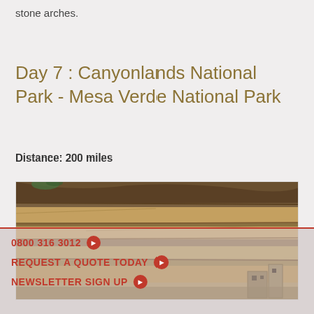stone arches.
Day 7 : Canyonlands National Park - Mesa Verde National Park
Distance: 200 miles
[Figure (photo): Photo of layered sandstone canyon rock face with ancient cliff dwelling ruins visible at bottom right]
0800 316 3012
REQUEST A QUOTE TODAY
NEWSLETTER SIGN UP